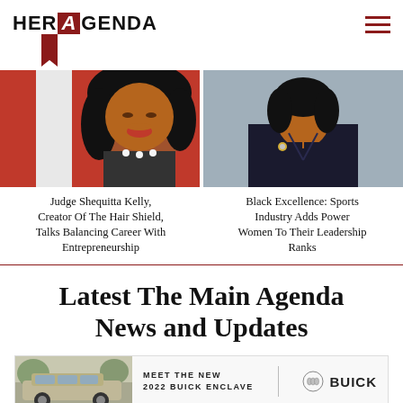HER AGENDA
[Figure (photo): Photo of Judge Shequitta Kelly, a woman with dark curly hair, in front of a red and white background]
[Figure (photo): Photo of a woman in a dark blazer with a brooch, standing against a grey background]
Judge Shequitta Kelly, Creator Of The Hair Shield, Talks Balancing Career With Entrepreneurship
Black Excellence: Sports Industry Adds Power Women To Their Leadership Ranks
Latest The Main Agenda News and Updates
[Figure (other): Advertisement: Meet the New 2022 Buick Enclave — showing a silver SUV with the Buick logo]